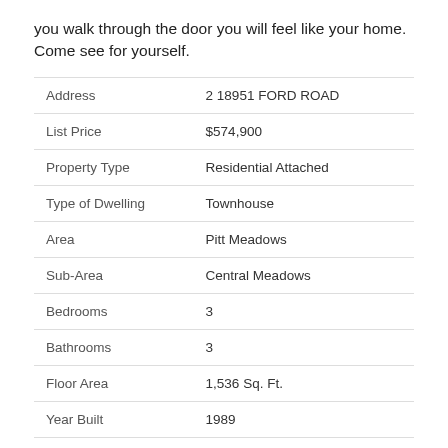you walk through the door you will feel like your home. Come see for yourself.
| Address | 2 18951 FORD ROAD |
| List Price | $574,900 |
| Property Type | Residential Attached |
| Type of Dwelling | Townhouse |
| Area | Pitt Meadows |
| Sub-Area | Central Meadows |
| Bedrooms | 3 |
| Bathrooms | 3 |
| Floor Area | 1,536 Sq. Ft. |
| Year Built | 1989 |